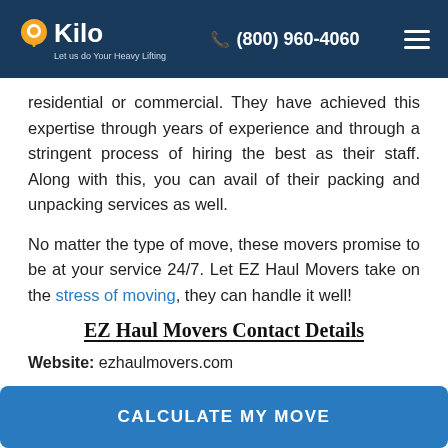Kilo — Let us do Your Heavy Lifting | (800) 960-4060
residential or commercial. They have achieved this expertise through years of experience and through a stringent process of hiring the best as their staff. Along with this, you can avail of their packing and unpacking services as well.
No matter the type of move, these movers promise to be at your service 24/7. Let EZ Haul Movers take on the stress of moving, they can handle it well!
EZ Haul Movers Contact Details
Website: ezhaulmovers.com
CALCULATE MY MOVE